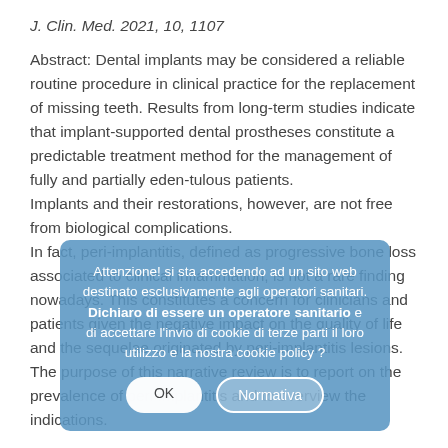J. Clin. Med. 2021, 10, 1107
Abstract: Dental implants may be considered a reliable routine procedure in clinical practice for the replacement of missing teeth. Results from long-term studies indicate that implant-supported dental prostheses constitute a predictable treatment method for the management of fully and partially eden-tulous patients. Implants and their restorations, however, are not free from biological complications. In fact, peri-implantitis, defined as progressive bone loss associated to clinical inflammation, is not a rare finding nowadays. This constitutes a concern for clinicians and patients given the negative impact on the quality of life and the sequelae originated by peri-implantitis lesions. The purpose of this narrative review is to report on the prevalence of peri-implantitis and to overview the indications.
[Figure (other): Cookie consent modal overlay in Italian: 'Attenzione! si sta accedendo ad un sito web destinato esclusivamente agli operatori sanitari. Dichiaro di essere un operatore sanitario e di accettare l'invio di cookie di terze parti il loro utilizzo e la nostra cookie policy?' with OK and Normativa buttons.]